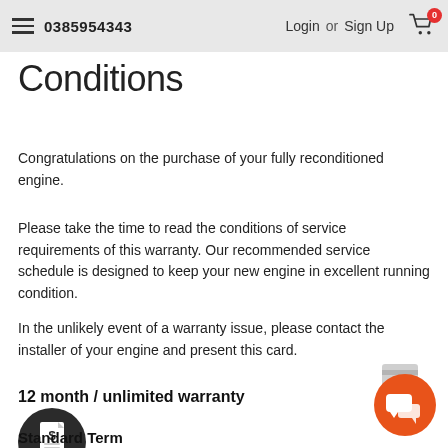0385954343   Login or Sign Up
Conditions
Congratulations on the purchase of your fully reconditioned engine.
Please take the time to read the conditions of service requirements of this warranty. Our recommended service schedule is designed to keep your new engine in excellent running condition.
In the unlikely event of a warranty issue, please contact the installer of your engine and present this card.
12 month / unlimited warranty
[Figure (illustration): Dark circular icon with a dollar sign document graphic]
Standard Term